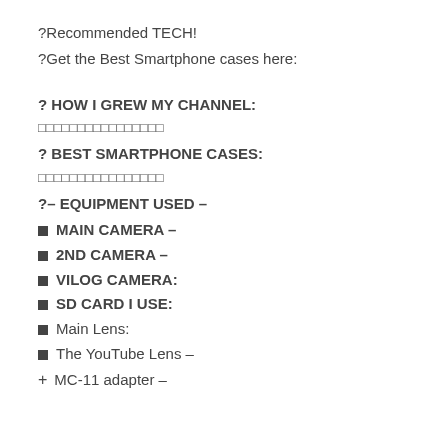?Recommended TECH!
?Get the Best Smartphone cases here:
? HOW I GREW MY CHANNEL:
□□□□□□□□□□□□□□□□
? BEST SMARTPHONE CASES:
□□□□□□□□□□□□□□□□
?– EQUIPMENT USED –
■ MAIN CAMERA –
■ 2ND CAMERA –
■ VILOG CAMERA:
■ SD CARD I USE:
■ Main Lens:
■ The YouTube Lens –
+ MC-11 adapter –